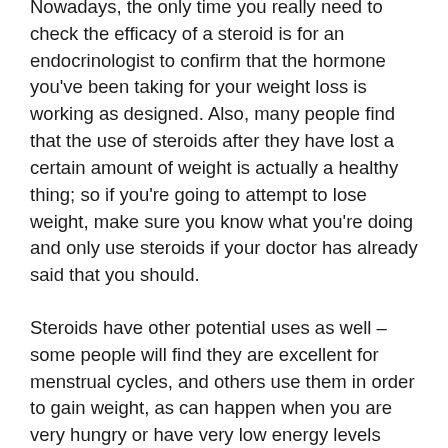Nowadays, the only time you really need to check the efficacy of a steroid is for an endocrinologist to confirm that the hormone you've been taking for your weight loss is working as designed. Also, many people find that the use of steroids after they have lost a certain amount of weight is actually a healthy thing; so if you're going to attempt to lose weight, make sure you know what you're doing and only use steroids if your doctor has already said that you should.
Steroids have other potential uses as well – some people will find they are excellent for menstrual cycles, and others use them in order to gain weight, as can happen when you are very hungry or have very low energy levels from a very low calorie deficit.
Another very interesting side effect to consider is that a steroid can actually suppress blood sugar responses in those